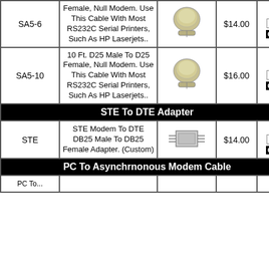| SKU | Description | Image | Price | Order |
| --- | --- | --- | --- | --- |
| SA5-6 | Female, Null Modem. Use This Cable With Most RS232C Serial Printers, Such As HP Laserjets.. | [cable image] | $14.00 | Qty 1 ORDER |
| SA5-10 | 10 Ft. D25 Male To D25 Female, Null Modem. Use This Cable With Most RS232C Serial Printers, Such As HP Laserjets.. | [cable image] | $16.00 | Qty 1 ORDER |
| STE To DTE Adapter |  |  |  |  |
| STE | STE Modem To DTE DB25 Male To DB25 Female Adapter. (Custom) | [adapter image] | $14.00 | Qty 1 ORDER |
| PC To Asynchrnonous Modem Cable |  |  |  |  |
| PC To... |  |  |  |  |